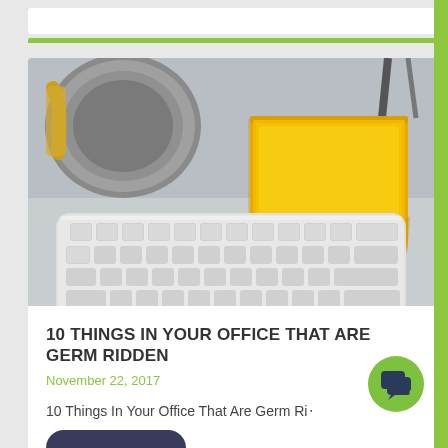[Figure (photo): Close-up photo of a white Apple keyboard on a light gray desk surface, with a yellow sticky note pad placed beside it and a metallic circular object (possibly a speaker base) in the upper left. A chair leg is visible in the upper right background.]
10 THINGS IN YOUR OFFICE THAT ARE GERM RIDDEN
November 22, 2017
10 Things In Your Office That Are Germ Ri...